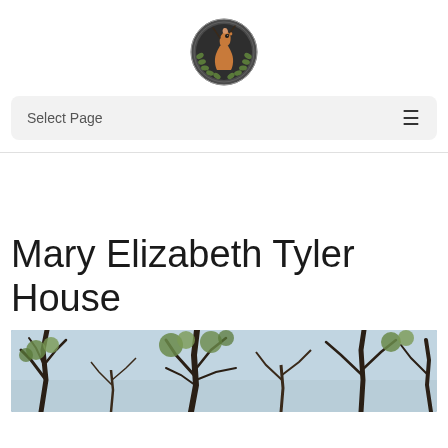[Figure (logo): Circular emblem logo with a deer/horse head profile in brown and tan on dark background, surrounded by laurel wreath, with decorative border]
Select Page
[Figure (photo): Outdoor photograph showing bare and leafy trees with branches against a light blue sky, appearing to be early spring]
Mary Elizabeth Tyler House